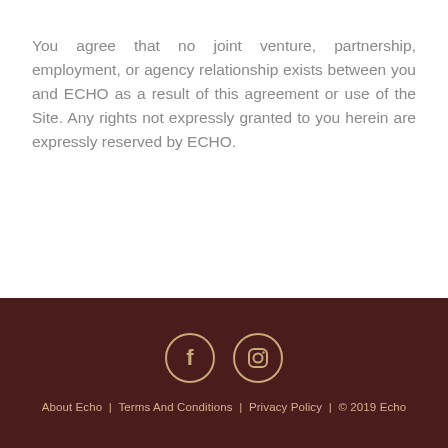You agree that no joint venture, partnership, employment, or agency relationship exists between you and ECHO as a result of this agreement or use of the Site. Any rights not expressly granted to you herein are expressly reserved by ECHO.
[Figure (other): Footer with dark brown background containing Facebook and Instagram social media icons (circle bordered icons), and footer navigation links: About Echo | Terms And Conditions | Privacy Policy | © 2019 Echo]
About Echo |  Terms And Conditions |  Privacy Policy |  © 2019 Echo